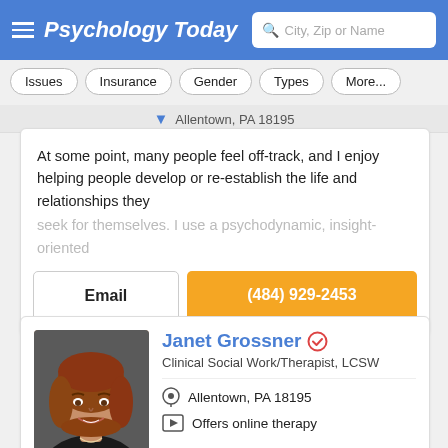Psychology Today — City, Zip or Name search
Issues
Insurance
Gender
Types
More...
Allentown, PA 18195
At some point, many people feel off-track, and I enjoy helping people develop or re-establish the life and relationships they seek for themselves. I use a psychodynamic, insight-oriented
Email
(484) 929-2453
[Figure (photo): Profile photo of Janet Grossner, a woman with short auburn/reddish-brown hair, smiling, wearing dark clothing]
Janet Grossner
Clinical Social Work/Therapist, LCSW
Allentown, PA 18195
Offers online therapy